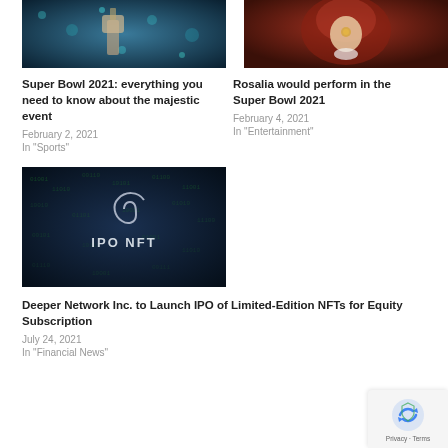[Figure (photo): Sports photo - hand holding trophy with blue bokeh background]
[Figure (photo): Entertainment photo - person with red/brown hair and white collar]
Super Bowl 2021: everything you need to know about the majestic event
February 2, 2021
In "Sports"
Rosalia would perform in the Super Bowl 2021
February 4, 2021
In "Entertainment"
[Figure (photo): IPO NFT promotional image - dark blue matrix background with spiral logo and IPO NFT text]
Deeper Network Inc. to Launch IPO of Limited-Edition NFTs for Equity Subscription
July 24, 2021
In "Financial News"